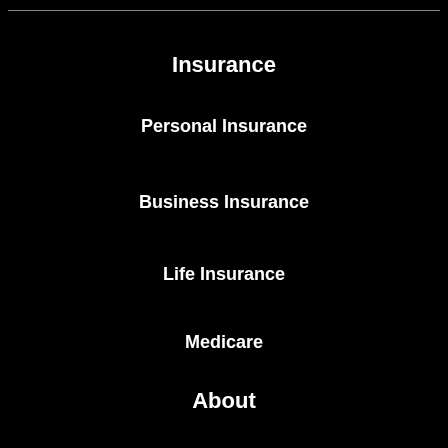Insurance
Personal Insurance
Business Insurance
Life Insurance
Medicare
About
About Us
Meet Our Team
Customer Reviews
Insurance Companies